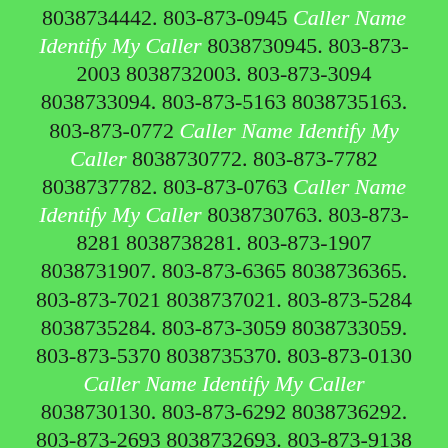8038734442. 803-873-0945 Caller Name Identify My Caller 8038730945. 803-873-2003 8038732003. 803-873-3094 8038733094. 803-873-5163 8038735163. 803-873-0772 Caller Name Identify My Caller 8038730772. 803-873-7782 8038737782. 803-873-0763 Caller Name Identify My Caller 8038730763. 803-873-8281 8038738281. 803-873-1907 8038731907. 803-873-6365 8038736365. 803-873-7021 8038737021. 803-873-5284 8038735284. 803-873-3059 8038733059. 803-873-5370 8038735370. 803-873-0130 Caller Name Identify My Caller 8038730130. 803-873-6292 8038736292. 803-873-2693 8038732693. 803-873-9138 8038739138. 803-873-7839 8038737839. 803-873-6107 8038736107. 803-873-4213 8038734213. 803-873-2131 8038732131. 803-873-0808 Caller Name Identify My Caller 8038730808. 803-